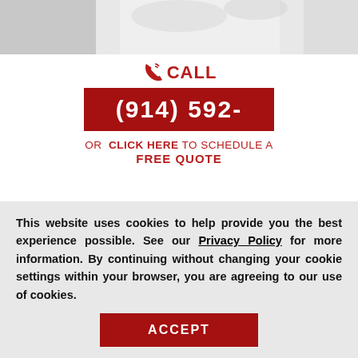[Figure (photo): Top portion of a webpage showing hands or a person, partially visible, light background]
CALL
(914) 592-
OR  CLICK HERE TO SCHEDULE A FREE QUOTE
Tile Sealing Port Chester New York
Amazingly, Tile Armor is a non-flammable, odorless sealer that will not alter the appearance of your kitchen or bathroom
This website uses cookies to help provide you the best experience possible. See our Privacy Policy for more information. By continuing without changing your cookie settings within your browser, you are agreeing to our use of cookies.
ACCEPT